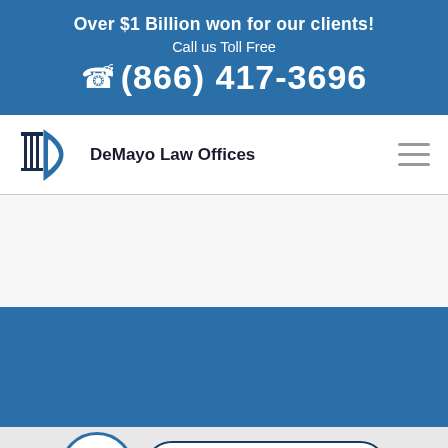Over $1 Billion won for our clients! Call us Toll Free (866) 417-3696
[Figure (logo): DeMayo Law Offices logo with columns and D shape]
DeMayo Law Offices
[Figure (other): Live Chat | Start Now button with DeMayo logo circle]